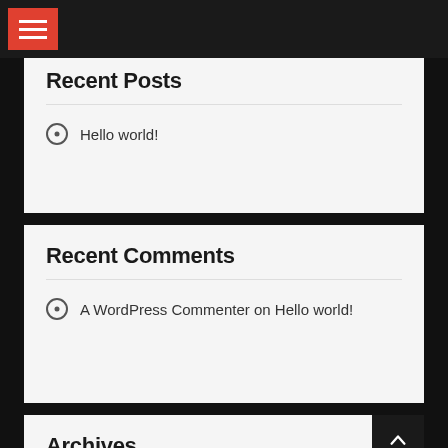Navigation menu bar with hamburger icon
Recent Posts
Hello world!
Recent Comments
A WordPress Commenter on Hello world!
Archives
April 2017